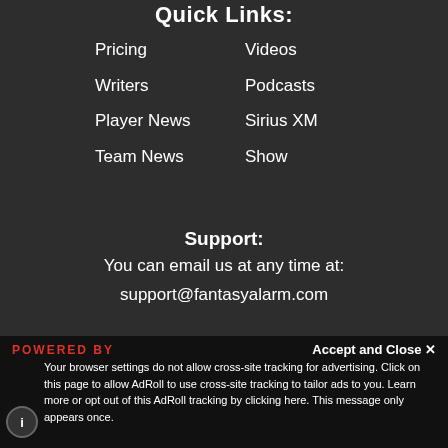Quick Links:
Pricing
Videos
Writers
Podcasts
Player News
Sirius XM Show
Team News
Support:
You can email us at any time at: support@fantasyalarm.com
[Figure (logo): Fantasy Alarm logo in red and white text]
[Figure (logo): Pickswise logo in grey text]
[Figure (illustration): Social media icons: YouTube, Twitter, Facebook, Instagram]
POWERED BY
Accept and Close ✕
Your browser settings do not allow cross-site tracking for advertising. Click on this page to allow AdRoll to use cross-site tracking to tailor ads to you. Learn more or opt out of this AdRoll tracking by clicking here. This message only appears once.